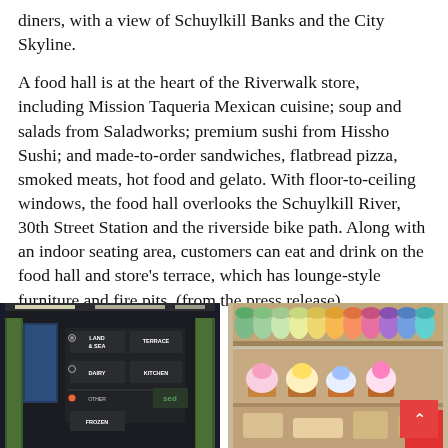diners, with a view of Schuylkill Banks and the City Skyline.
A food hall is at the heart of the Riverwalk store, including Mission Taqueria Mexican cuisine; soup and salads from Saladworks; premium sushi from Hissho Sushi; and made-to-order sandwiches, flatbread pizza, smoked meats, hot food and gelato. With floor-to-ceiling windows, the food hall overlooks the Schuylkill River, 30th Street Station and the riverside bike path. Along with an indoor seating area, customers can eat and drink on the food hall and store's terrace, which has lounge-style furniture and fire pits. (from the press release)
[Figure (photo): Interior grocery store signage showing department labels: LAND & SEA, TERRACE, DAIRY, KITCHEN, and FROZEN, with green plant displays]
[Figure (photo): Display case with colorful cupcakes and pastries under glass, with rows of colorful cups/containers on upper shelves]